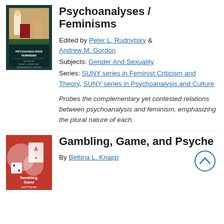Psychoanalyses / Feminisms
Edited by Peter L. Rudnytsky & Andrew M. Gordon
Subjects: Gender And Sexuality
Series: SUNY series in Feminist Criticism and Theory, SUNY series in Psychoanalysis and Culture
Probes the complementary yet contested relations between psychoanalysis and feminism, emphasizing the plural nature of each.
[Figure (illustration): Book cover of Psychoanalyses / Feminisms showing a classical painting with figures]
Gambling, Game, and Psyche
By Bettina L. Knapp
[Figure (illustration): Book cover of Gambling, Game, and Psyche with red and white design]
[Figure (other): Back to top button — circular arrow icon]